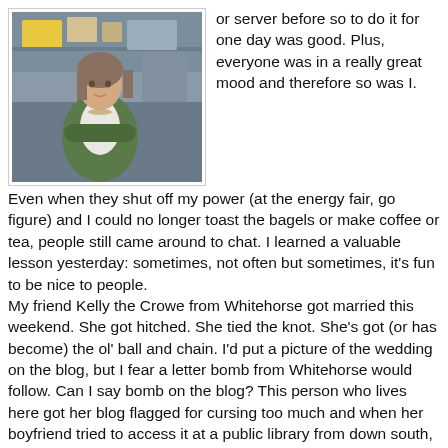[Figure (photo): A woman in a green cardigan standing with arms crossed in a food service or market stall environment, with various supplies visible behind her.]
or server before so to do it for one day was good. Plus, everyone was in a really great mood and therefore so was I. Even when they shut off my power (at the energy fair, go figure) and I could no longer toast the bagels or make coffee or tea, people still came around to chat. I learned a valuable lesson yesterday: sometimes, not often but sometimes, it's fun to be nice to people.
My friend Kelly the Crowe from Whitehorse got married this weekend. She got hitched. She tied the knot. She's got (or has become) the ol' ball and chain. I'd put a picture of the wedding on the blog, but I fear a letter bomb from Whitehorse would follow. Can I say bomb on the blog? This person who lives here got her blog flagged for cursing too much and when her boyfriend tried to access it at a public library from down south, he couldn't. A message came up that said the site was too explicit, or something like that. I wonder if my blog is flagged? For what, I don't know.